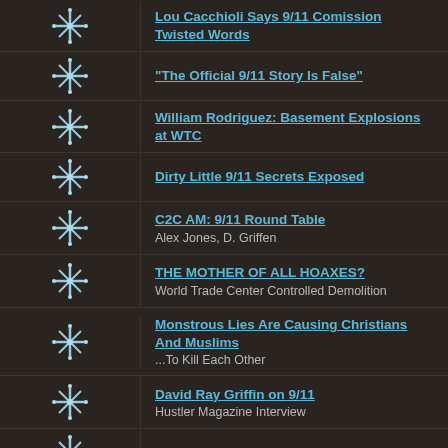Lou Cacchioli Says 9/11 Comission Twisted Words
"The Official 9/11 Story Is False"
William Rodriguez: Basement Explosions at WTC
Dirty Little 9/11 Secrets Exposed
C2C AM: 9/11 Round Table
Alex Jones, D. Griffen
THE MOTHER OF ALL HOAXES?
World Trade Center Controlled Demolition
Monstrous Lies Are Causing Christians And Muslims
...To Kill Each Other
David Ray Griffin on 9/11
Hustler Magazine Interview
Pentagon: was it a retrofitted A-3 plane?
Questions that must be asked
9/11
9/11: Aircraft parts as identity clues
All aircraft parts have serial numbers